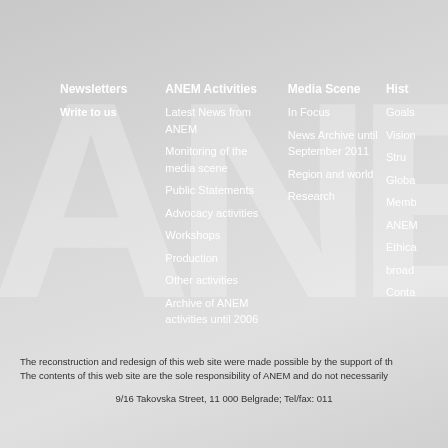Newsletters   Write to us
ANEM Activities
Latest News from ANEM
Monitoring of the media scene
Public Statements
Advocacy activities
Workshops
Production
Other activities
Archive of ANEM activities until 2006
Media Scene
In Focus
News Archive until September 2011
Region and world
Research
History
Goals
Vision
Structure
Global
Members
ANEM
Ethical
broadcasting
Contact
The reconstruction and redesign of this web site were made possible by the support of the The contents of this web site are the sole responsibility of ANEM and do not necessarily
9/16 Takovska Street, 11 000 Belgrade; Tel/fax: 011